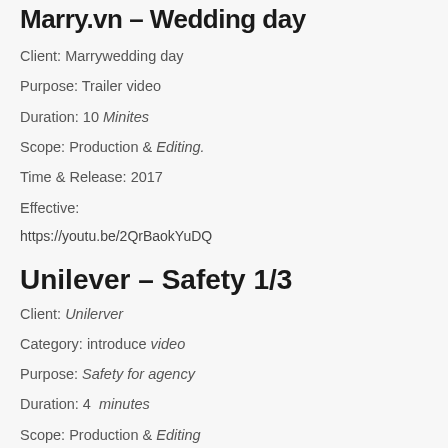Marry.vn – Wedding day
Client: Marrywedding day
Purpose: Trailer video
Duration: 10 Minites
Scope: Production & Editing.
Time & Release: 2017
Effective:
https://youtu.be/2QrBaokYuDQ
Unilever – Safety 1/3
Client: Unilerver
Category: introduce video
Purpose: Safety for agency
Duration: 4  minutes
Scope: Production & Editing